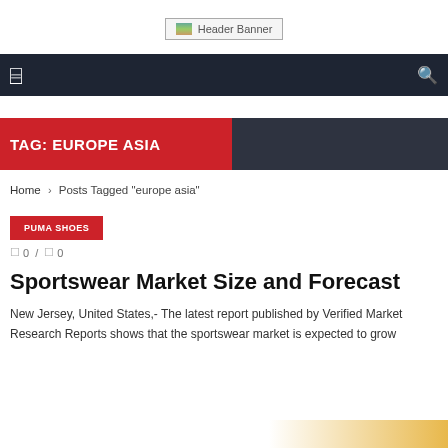[Figure (other): Header Banner placeholder image with text 'Header Banner']
Navigation bar with menu icon and search icon
TAG: EUROPE ASIA
Home › Posts Tagged "europe asia"
PUMA SHOES
0 / 0
Sportswear Market Size and Forecast
New Jersey, United States,- The latest report published by Verified Market Research Reports shows that the sportswear market is expected to grow